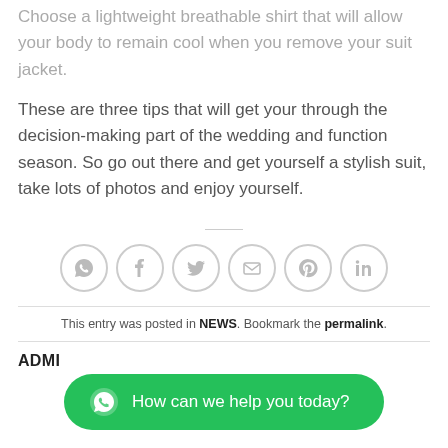Choose a lightweight breathable shirt that will allow your body to remain cool when you remove your suit jacket.
These are three tips that will get your through the decision-making part of the wedding and function season. So go out there and get yourself a stylish suit, take lots of photos and enjoy yourself.
[Figure (infographic): Social share icons: WhatsApp, Facebook, Twitter, Email, Pinterest, LinkedIn — each in a light grey circle outline]
This entry was posted in NEWS. Bookmark the permalink.
ADMI
[Figure (other): WhatsApp chat button: green pill-shaped bar with WhatsApp icon and text 'How can we help you today?']